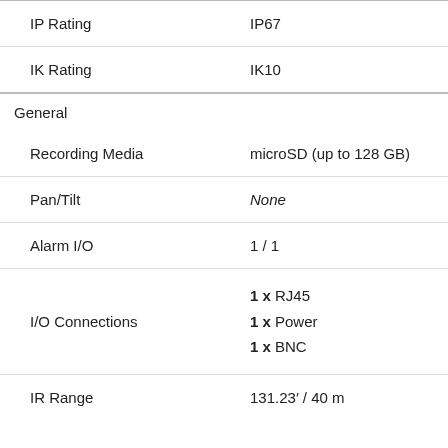| Property | Value |
| --- | --- |
| IP Rating | IP67 |
| IK Rating | IK10 |
| General |  |
| Recording Media | microSD (up to 128 GB) |
| Pan/Tilt | None |
| Alarm I/O | 1 / 1 |
| I/O Connections | 1 x RJ45
1 x Power
1 x BNC |
| IR Range | 131.23′ / 40 m |